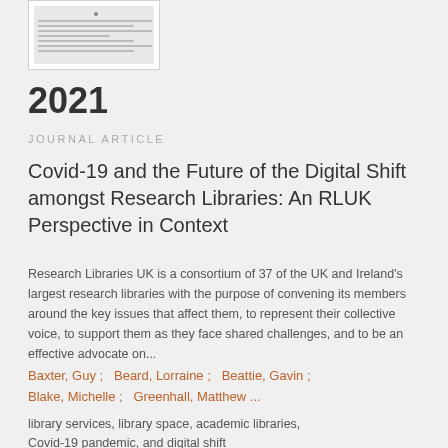[Figure (screenshot): Thumbnail preview of a document page showing text lines]
2021
JOURNAL ARTICLE
Covid-19 and the Future of the Digital Shift amongst Research Libraries: An RLUK Perspective in Context
Research Libraries UK is a consortium of 37 of the UK and Ireland's largest research libraries with the purpose of convening its members around the key issues that affect them, to represent their collective voice, to support them as they face shared challenges, and to be an effective advocate on...
Baxter, Guy ;   Beard, Lorraine ;   Beattie, Gavin ;   Blake, Michelle ;   Greenhall, Matthew ...
library services, library space, academic libraries, Covid-19 pandemic, and digital shift